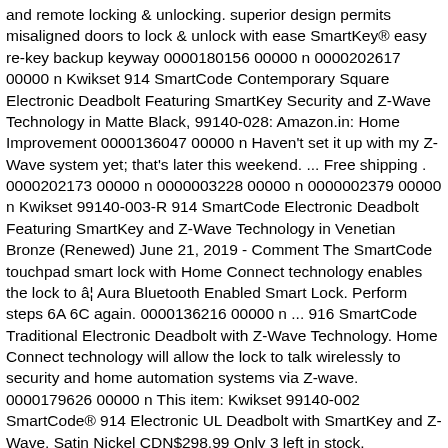and remote locking & unlocking. superior design permits misaligned doors to lock & unlock with ease SmartKey® easy re-key backup keyway 0000180156 00000 n 0000202617 00000 n Kwikset 914 SmartCode Contemporary Square Electronic Deadbolt Featuring SmartKey Security and Z-Wave Technology in Matte Black, 99140-028: Amazon.in: Home Improvement 0000136047 00000 n Haven't set it up with my Z-Wave system yet; that's later this weekend. ... Free shipping . 0000202173 00000 n 0000003228 00000 n 0000002379 00000 n Kwikset 99140-003-R 914 SmartCode Electronic Deadbolt Featuring SmartKey and Z-Wave Technology in Venetian Bronze (Renewed) June 21, 2019 - Comment The SmartCode touchpad smart lock with Home Connect technology enables the lock to â¦ Aura Bluetooth Enabled Smart Lock. Perform steps 6A 6C again. 0000136216 00000 n ... 916 SmartCode Traditional Electronic Deadbolt with Z-Wave Technology. Home Connect technology will allow the lock to talk wirelessly to security and home automation systems via Z-wave. 0000179626 00000 n This item: Kwikset 99140-002 SmartCode® 914 Electronic UL Deadbolt with SmartKey and Z-Wave, Satin Nickel CDN$298.99 Only 3 left in stock. SmartCode complements any Kwikset knob, lever or handleset. In this video, we unbox the Kwikset SmartCode 914 Electronic Deadbolt, showing you what comes with the lock. The metal housing delivers quality that can be felt for added security and durability.